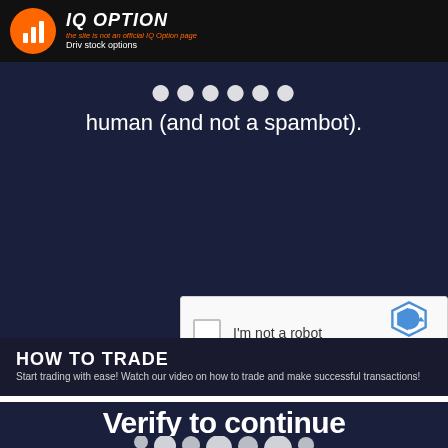IQ OPTION — the site is not an official IQ Option page — Driv stock options
human (and not a spambot).
[Figure (screenshot): reCAPTCHA widget with checkbox labeled 'I'm not a robot' and reCAPTCHA logo with Privacy and Terms links]
HOW TO TRADE
Start trading with ease! Watch our video on how to trade and make successful transactions!
Verify to continue